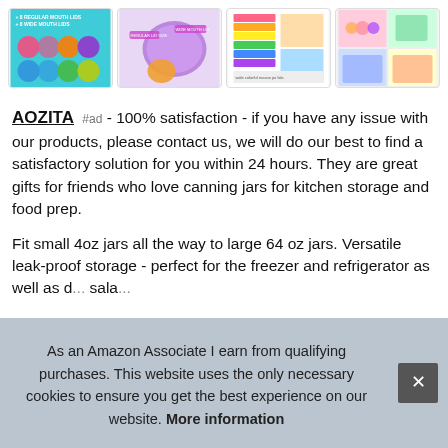[Figure (photo): Four product thumbnail images showing colorful silicone mason jar lids (AOZITA brand). First image shows teal background with multicolored lid circles and text '+8 REGULAR MOUTH LIDS +8 WIDE MOUTH LIDS'. Second shows a purple lid with orange juice jar. Third shows stacked colorful jars with product info overlay. Fourth shows a collage of colorful jar lid uses.]
AOZITA #ad - 100% satisfaction - if you have any issue with our products, please contact us, we will do our best to find a satisfactory solution for you within 24 hours. They are great gifts for friends who love canning jars for kitchen storage and food prep.
Fit small 4oz jars all the way to large 64 oz jars. Versatile leak-proof storage - perfect for the freezer and refrigerator as well as d... sala...
As an Amazon Associate I earn from qualifying purchases. This website uses the only necessary cookies to ensure you get the best experience on our website. More information